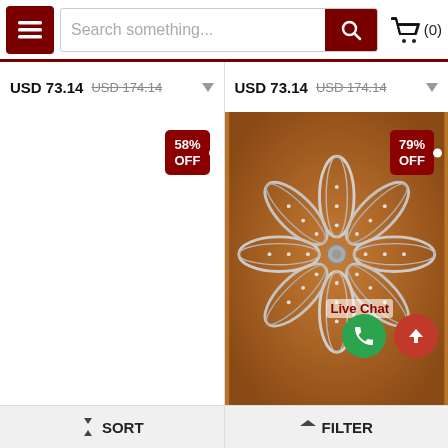[Figure (screenshot): E-commerce website navigation bar with hamburger menu, search field with 'Search something...' placeholder, dark red search button with magnifier icon, and shopping cart icon with (0) count.]
USD 73.14 USD 174.14 (left column price)
USD 73.14 USD 174.14 (right column price)
[Figure (photo): Left product panel, white background with 58% OFF badge in dark red at top right.]
[Figure (photo): Right product panel showing a silver rhinestone flower-shaped brooch/ring on a wooden background, with 79% OFF badge at top right, Live Chat label and floating phone and up-arrow buttons at bottom.]
Live Chat
SORT | FILTER